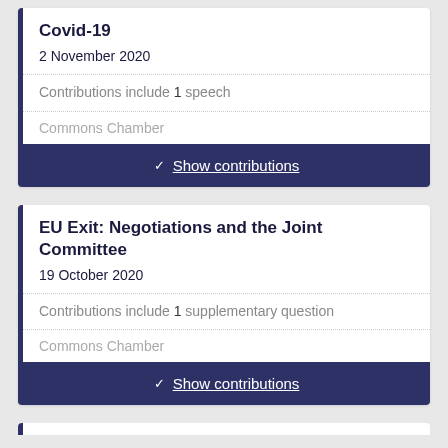Covid-19
2 November 2020
Contributions include 1 speech
Commons Chamber
Show contributions
EU Exit: Negotiations and the Joint Committee
19 October 2020
Contributions include 1 supplementary question
Commons Chamber
Show contributions